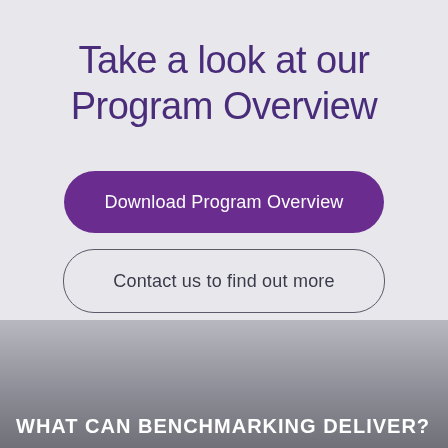Take a look at our Program Overview
Download Program Overview
Contact us to find out more
WHAT CAN BENCHMARKING DELIVER?